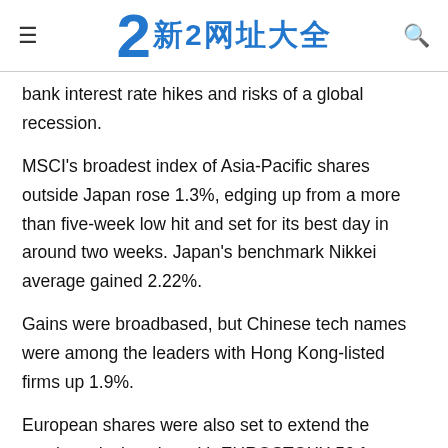≡  2 新2网址大全  🔍
bank interest rate hikes and risks of a global recession.
MSCI's broadest index of Asia-Pacific shares outside Japan rose 1.3%, edging up from a more than five-week low hit and set for its best day in around two weeks. Japan's benchmark Nikkei average gained 2.22%.
Gains were broadbased, but Chinese tech names were among the leaders with Hong Kong-listed firms up 1.9%.
European shares were also set to extend the previous day's gains with EUROSTOXX 50 futures up 0.6% and FTSE futures gaining 0.5%.
U.S. markets, which were closed on Monday for a holiday, looked set for a bigger pop at the open with S&P 500 e-mini share futures 1.63% higher and Nasdaq e-mini share futures advancing 1.76%.